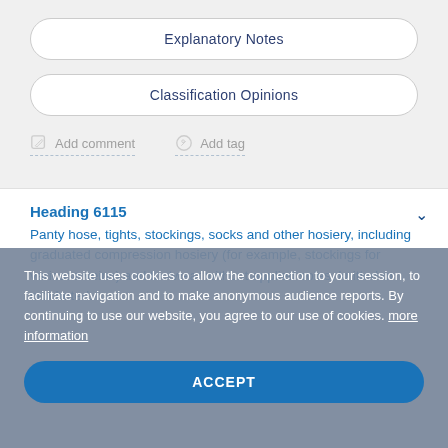[Figure (screenshot): Partial top rounded rectangle button/card visible at top of page]
Explanatory Notes
Classification Opinions
Add comment
Add tag
Heading 6115
Panty hose, tights, stockings, socks and other hosiery, including graduated compression hosiery (for example, stockings for varicose veins) and footwear without applied soles, knitted or crocheted.
This website uses cookies to allow the connection to your session, to facilitate navigation and to make anonymous audience reports. By continuing to use our website, you agree to our use of cookies. more information
ACCEPT